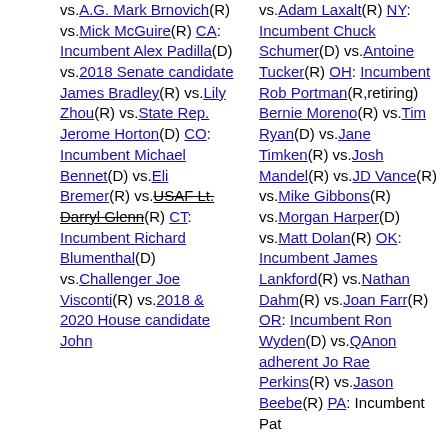vs.A.G. Mark Brnovich(R) vs.Mick McGuire(R) CA: Incumbent Alex Padilla(D) vs.2018 Senate candidate James Bradley(R) vs.Lily Zhou(R) vs.State Rep. Jerome Horton(D) CO: Incumbent Michael Bennet(D) vs.Eli Bremer(R) vs.USAF Lt. Darryl Glenn(R) CT: Incumbent Richard Blumenthal(D) vs.Challenger Joe Visconti(R) vs.2018 & 2020 House candidate John Flores(R)
vs.Adam Laxalt(R) NY: Incumbent Chuck Schumer(D) vs.Antoine Tucker(R) OH: Incumbent Rob Portman(R,retiring) Bernie Moreno(R) vs.Tim Ryan(D) vs.Jane Timken(R) vs.Josh Mandel(R) vs.JD Vance(R) vs.Mike Gibbons(R) vs.Morgan Harper(D) vs.Matt Dolan(R) OK: Incumbent James Lankford(R) vs.Nathan Dahm(R) vs.Joan Farr(R) OR: Incumbent Ron Wyden(D) vs.QAnon adherent Jo Rae Perkins(R) vs.Jason Beebe(R) PA: Incumbent Pat